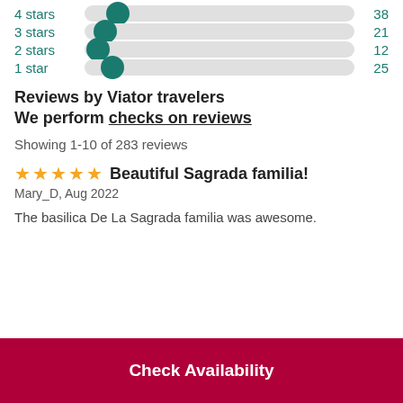[Figure (other): Star rating bar chart showing 4 stars=38, 3 stars=21, 2 stars=12, 1 star=25]
Reviews by Viator travelers
We perform checks on reviews
Showing 1-10 of 283 reviews
★★★★★ Beautiful Sagrada familia!
Mary_D, Aug 2022
The basilica De La Sagrada familia was awesome.
Check Availability